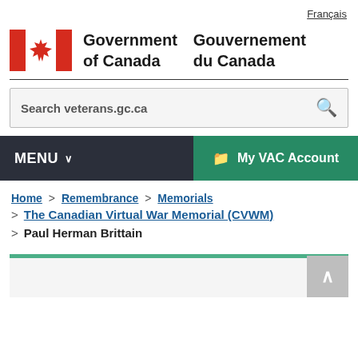Français
[Figure (logo): Government of Canada / Gouvernement du Canada logo with Canadian flag maple leaf symbol]
Search veterans.gc.ca
MENU  My VAC Account
Home > Remembrance > Memorials > The Canadian Virtual War Memorial (CVWM) > Paul Herman Brittain